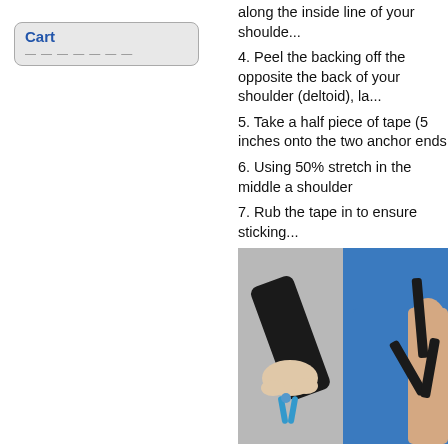Cart
along the inside line of your shoulder
4. Peel the backing off the opposite the back of your shoulder (deltoid), la
5. Take a half piece of tape (5 inches onto the two anchor ends
6. Using 50% stretch in the middle a shoulder
7. Rub the tape in to ensure sticking
8. If the split "Y" piece of tape doesn Tape™, creating the "Y" and following
[Figure (photo): Two photos side by side: left photo shows hands holding a piece of black kinesiology tape with blue scissors cutting it; right photo shows a person wearing a blue tank top with black kinesiology tape applied in a Y-shape on their shoulder.]